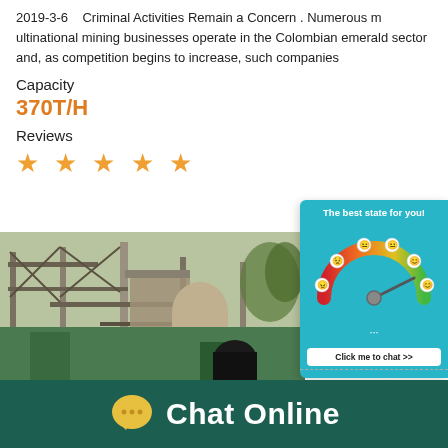2019-3-6   Criminal Activities Remain a Concern . Numerous multinational mining businesses operate in the Colombian emerald sector and, as competition begins to increase, such companies
Capacity
370T/H
Reviews
★ ★ ★ ★ ★
[Figure (photo): Mining facility with industrial scaffolding and green structures]
[Figure (infographic): Chat widget with speedometer gauge showing 'The best state for you!' and 'Click me to chat >>' button]
Enquiry
[Figure (infographic): Dark green footer bar with Chat Online text and yellow speech bubble icon]